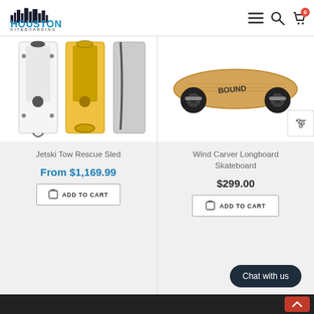[Figure (logo): Houston Kiteboarding logo with city skyline silhouette]
[Figure (photo): Jetski Tow Rescue Sled product image showing white and yellow sleds]
Jetski Tow Rescue Sled
From $1,169.99
ADD TO CART
[Figure (photo): Wind Carver Longboard Skateboard product image showing wooden board with black wheels]
Wind Carver Longboard Skateboard
$299.00
ADD TO CART
Chat with us